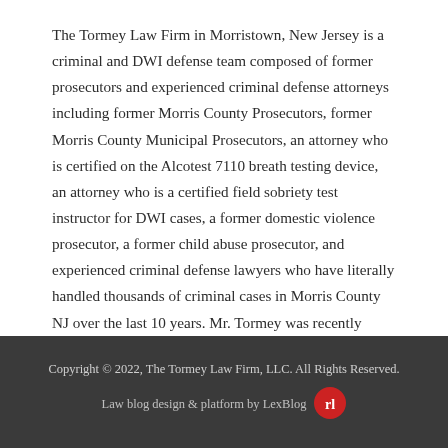The Tormey Law Firm in Morristown, New Jersey is a criminal and DWI defense team composed of former prosecutors and experienced criminal defense attorneys including former Morris County Prosecutors, former Morris County Municipal Prosecutors, an attorney who is certified on the Alcotest 7110 breath testing device, an attorney who is a certified field sobriety test instructor for DWI cases, a former domestic violence prosecutor, a former child abuse prosecutor, and experienced criminal defense lawyers who have literally handled thousands of criminal cases in Morris County NJ over the last 10 years. Mr. Tormey was recently recognized as one of the top 10 criminal lawyers in New Jersey by the American Jurist Institute.
Copyright © 2022, The Tormey Law Firm, LLC. All Rights Reserved.
Law blog design & platform by LexBlog